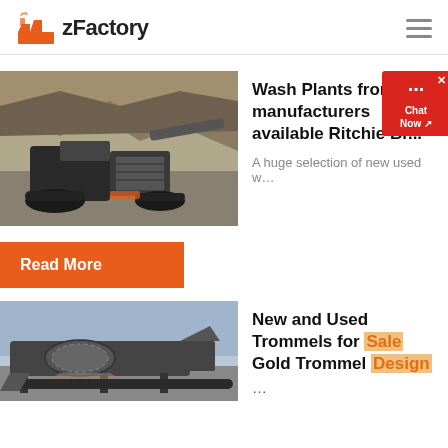zFactory
[Figure (photo): Heavy mining crusher machine on rocky terrain]
Wash Plants from manufacturers available Ritchie Br...
A huge selection of new used w...
Read More
[Figure (photo): Mining trommel screening machine outdoors]
New and Used Trommels for Sale Gold Trommel Design ...